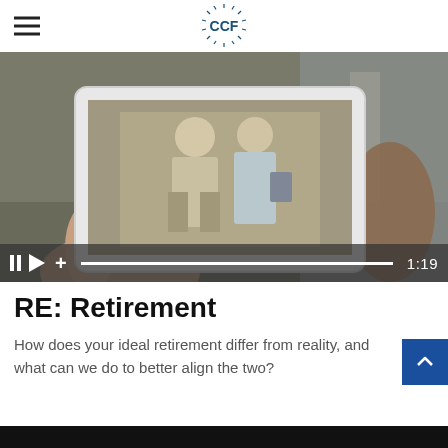CCF
[Figure (screenshot): A hand holding a tablet displaying an elderly couple walking outdoors, with video player controls at the bottom showing pause, play, volume, progress bar and time 1:19]
RE: Retirement
How does your ideal retirement differ from reality, and what can we do to better align the two?